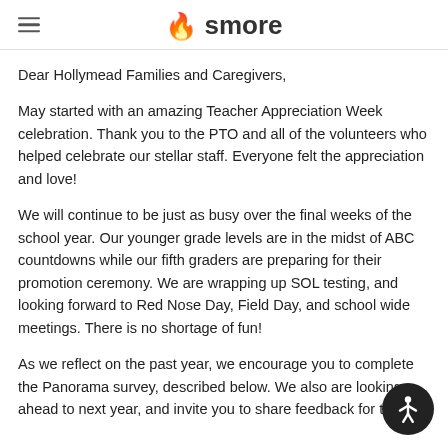smore
Dear Hollymead Families and Caregivers,
May started with an amazing Teacher Appreciation Week celebration. Thank you to the PTO and all of the volunteers who helped celebrate our stellar staff. Everyone felt the appreciation and love!
We will continue to be just as busy over the final weeks of the school year. Our younger grade levels are in the midst of ABC countdowns while our fifth graders are preparing for their promotion ceremony. We are wrapping up SOL testing, and looking forward to Red Nose Day, Field Day, and school wide meetings. There is no shortage of fun!
As we reflect on the past year, we encourage you to complete the Panorama survey, described below. We also are looking ahead to next year, and invite you to share feedback for th well.